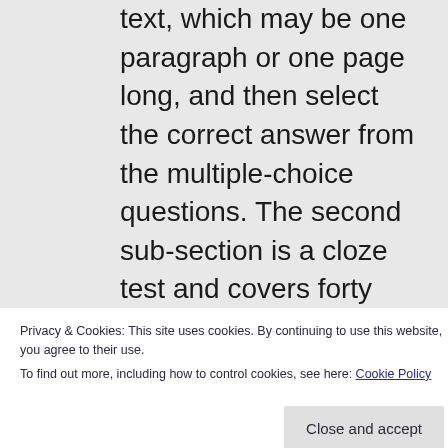text, which may be one paragraph or one page long, and then select the correct answer from the multiple-choice questions. The second sub-section is a cloze test and covers forty items and consists of paragraphs, where the first and the last sentence are complete but every seventh word in the other sentences is omitted. You need to guess which the missing word is
Privacy & Cookies: This site uses cookies. By continuing to use this website, you agree to their use.
To find out more, including how to control cookies, see here: Cookie Policy
more than one word that fits the